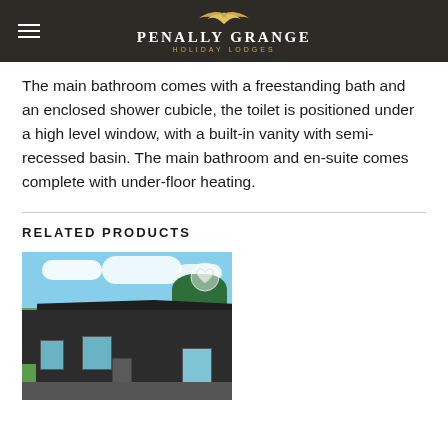PENALLY GRANGE HOLIDAY LODGES
The main bathroom comes with a freestanding bath and an enclosed shower cubicle, the toilet is positioned under a high level window, with a built-in vanity with semi-recessed basin. The main bathroom and en-suite comes complete with under-floor heating.
RELATED PRODUCTS
[Figure (photo): Exterior photo of a dark-clad holiday lodge with flat/mono-pitch roof, blue sky with white clouds, green trees in background, driveway in foreground. Has a heart/wishlist icon overlay.]